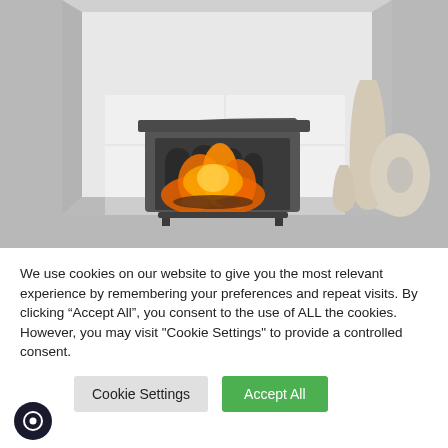[Figure (photo): A dark grey cast-iron electric fireplace stove with Gothic arch window design, glowing orange flames visible inside, set into a white-tiled alcove in a grey wall. Two cream/beige decorative vases visible to the right.]
We use cookies on our website to give you the most relevant experience by remembering your preferences and repeat visits. By clicking “Accept All”, you consent to the use of ALL the cookies. However, you may visit "Cookie Settings" to provide a controlled consent.